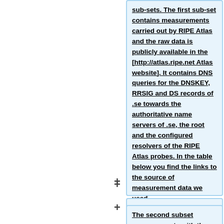sub-sets. The first sub-set contains measurements carried out by RIPE Atlas and the raw data is publicly available in the [http://atlas.ripe.net Atlas website]. It contains DNS queries for the DNSKEY, RRSIG and DS records of .se towards the authoritative name servers of .se, the root and the configured resolvers of the RIPE Atlas probes. In the table below you find the links to the source of measurement data we used.
The second subset measurements with the